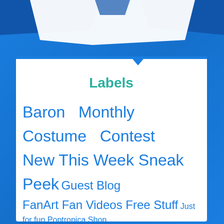[Figure (illustration): Blue background with white decorative shapes at top resembling a torn page or banner with dark blue accent shapes]
Labels
Baron  Monthly  Costume  Contest  New This Week Sneak Peek  Guest Blog  FanArt Fan Videos Free Stuff Just for fun Poptropica Shop